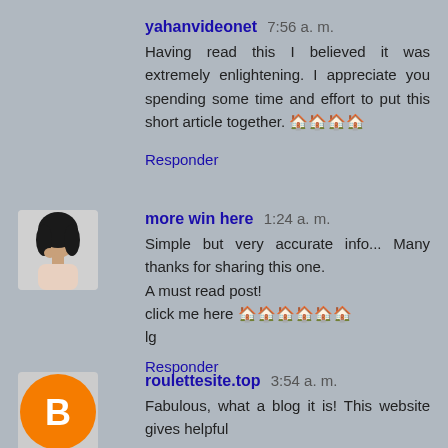yahanvideonet 7:56 a. m.
Having read this I believed it was extremely enlightening. I appreciate you spending some time and effort to put this short article together. 🏠🏠🏠🏠
Responder
[Figure (photo): Avatar photo of a young Asian woman with long black hair, hand on chin]
more win here 1:24 a. m.
Simple but very accurate info... Many thanks for sharing this one.
A must read post!
click me here 🏠🏠🏠🏠🏠🏠
lg
Responder
[Figure (logo): Blogger orange circle avatar icon with letter B]
roulettesite.top 3:54 a. m.
Fabulous, what a blog it is! This website gives helpful